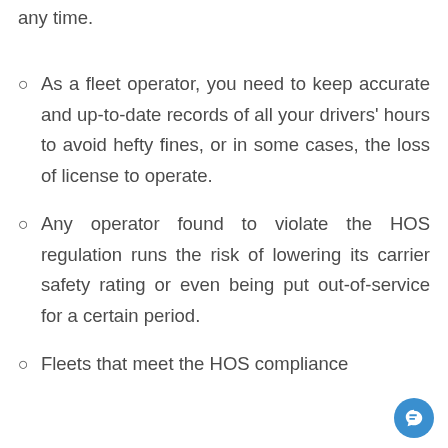changes in the Hours of Service regulations at any time.
As a fleet operator, you need to keep accurate and up-to-date records of all your drivers' hours to avoid hefty fines, or in some cases, the loss of license to operate.
Any operator found to violate the HOS regulation runs the risk of lowering its carrier safety rating or even being put out-of-service for a certain period.
Fleets that meet the HOS compliance